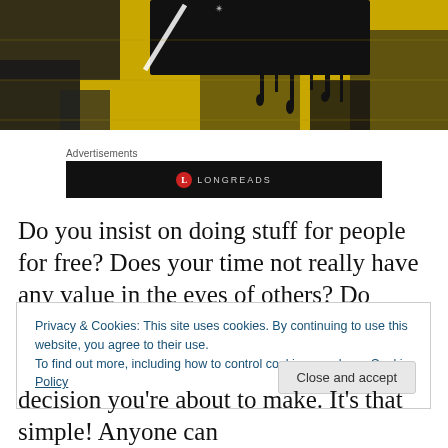[Figure (photo): Hero image showing a yellow and black graffiti/painted wall with dripping black paint and a dark monitor/screen area at the top]
Advertisements
[Figure (logo): Longreads advertisement banner — black background with red circle L logo and LONGREADS text in grey]
Do you insist on doing stuff for people for free? Does your time not really have any value in the eyes of others? Do
Privacy & Cookies: This site uses cookies. By continuing to use this website, you agree to their use.
To find out more, including how to control cookies, see here: Cookie Policy
Close and accept
decision you're about to make. It's that simple! Anyone can